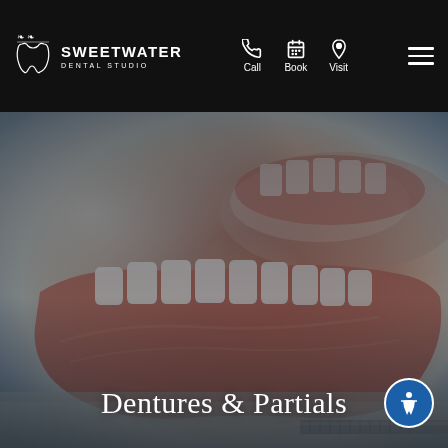Sweetwater Dental Studio — Call | Book | Visit
[Figure (photo): Close-up photo of dental denture/partial model with pink gum base and white teeth on a light surface, dark overlay, dental tools visible]
Dentures & Partials